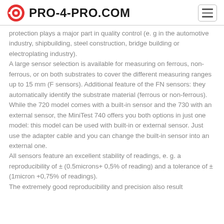PRO-4-PRO.COM
protection plays a major part in quality control (e. g in the automotive industry, shipbuilding, steel construction, bridge building or electroplating industry).
A large sensor selection is available for measuring on ferrous, non-ferrous, or on both substrates to cover the different measuring ranges up to 15 mm (F sensors). Additional feature of the FN sensors: they automatically identify the substrate material (ferrous or non-ferrous). While the 720 model comes with a built-in sensor and the 730 with an external sensor, the MiniTest 740 offers you both options in just one model: this model can be used with built-in or external sensor. Just use the adapter cable and you can change the built-in sensor into an external one.
All sensors feature an excellent stability of readings, e. g. a reproducibility of ± (0.5microns+ 0,5% of reading) and a tolerance of ±(1micron +0,75% of readings).
The extremely good reproducibility and precision also result